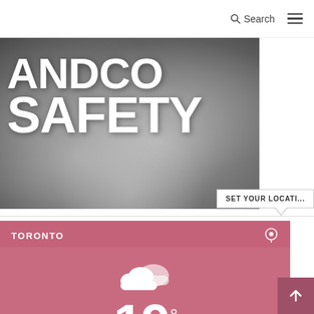Search  ≡
[Figure (photo): Smoke/fog background image with large white bold text reading 'AND CO SAFETY']
SET YOUR LOCATION
TORONTO
[Figure (illustration): Weather widget showing Toronto weather: cloudy icon and temperature 19 degrees]
19°